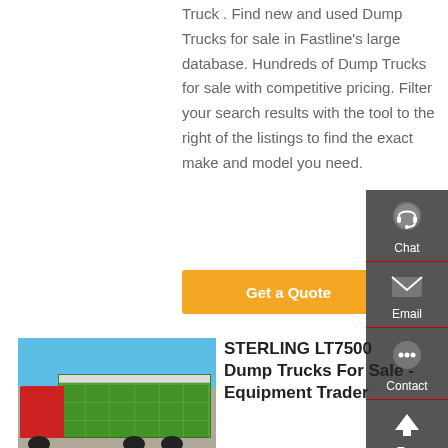Truck . Find new and used Dump Trucks for sale in Fastline's large database. Hundreds of Dump Trucks for sale with competitive pricing. Filter your search results with the tool to the right of the listings to find the exact make and model you need.
[Figure (other): Orange 'Get a Quote' button]
[Figure (photo): Green Sterling dump truck parked in a lot, photographed from rear-side angle, blue sky background]
STERLING LT7500 Dump Trucks For Sale - Equipment Trader
[Figure (infographic): Floating dark sidebar with Chat (headset icon), Email (envelope icon), Contact (speech bubble icon), and Top (up arrow icon) buttons]